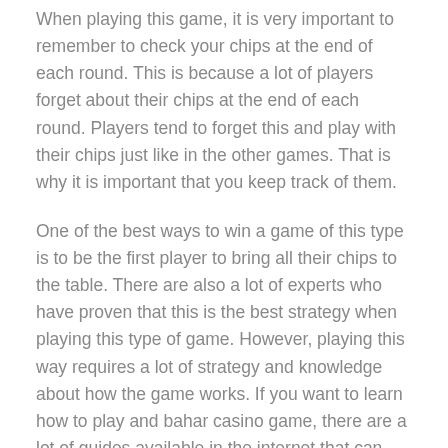When playing this game, it is very important to remember to check your chips at the end of each round. This is because a lot of players forget about their chips at the end of each round. Players tend to forget this and play with their chips just like in the other games. That is why it is important that you keep track of them.
One of the best ways to win a game of this type is to be the first player to bring all their chips to the table. There are also a lot of experts who have proven that this is the best strategy when playing this type of game. However, playing this way requires a lot of strategy and knowledge about how the game works. If you want to learn how to play and bahar casino game, there are a lot of guides available in the internet that can teach you how to play the game.
A lot of players prefer to use specific and rare cards while playing this game. Although this is a good strategy, it's also important to be able to work with them...